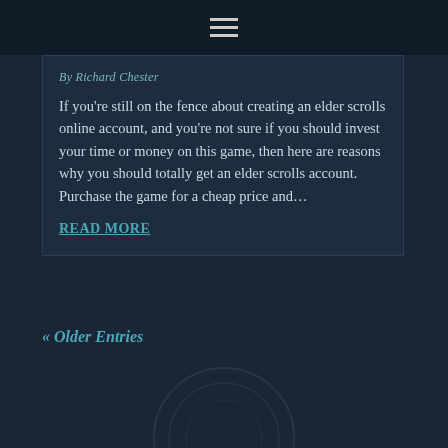Navigation menu icon
By Richard Chester
If you're still on the fence about creating an elder scrolls online account, and you're not sure if you should invest your time or money on this game, then here are reasons why you should totally get an elder scrolls account. Purchase the game for a cheap price and…
READ MORE
« Older Entries